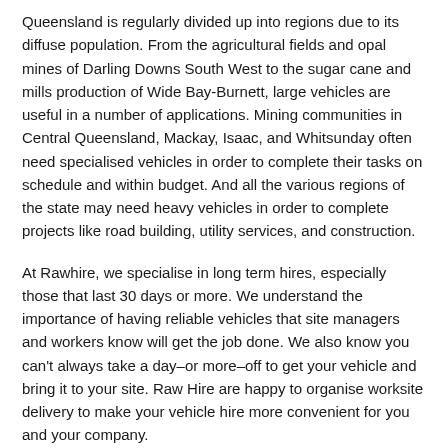Queensland is regularly divided up into regions due to its diffuse population. From the agricultural fields and opal mines of Darling Downs South West to the sugar cane and mills production of Wide Bay-Burnett, large vehicles are useful in a number of applications. Mining communities in Central Queensland, Mackay, Isaac, and Whitsunday often need specialised vehicles in order to complete their tasks on schedule and within budget. And all the various regions of the state may need heavy vehicles in order to complete projects like road building, utility services, and construction.
At Rawhire, we specialise in long term hires, especially those that last 30 days or more. We understand the importance of having reliable vehicles that site managers and workers know will get the job done. We also know you can't always take a day–or more–off to get your vehicle and bring it to your site. Raw Hire are happy to organise worksite delivery to make your vehicle hire more convenient for you and your company.
Raw Hire vehicles range from light commercial vehicles such as utes, wagons, 4WDs and 2WDs, as well as 12 seat to 57 seat buses, 4WD buses, flatbed trucks, crane trucks, tipper trucks, 4WD trucks and 2-23 tonne trucks. Raw Hire also cater for